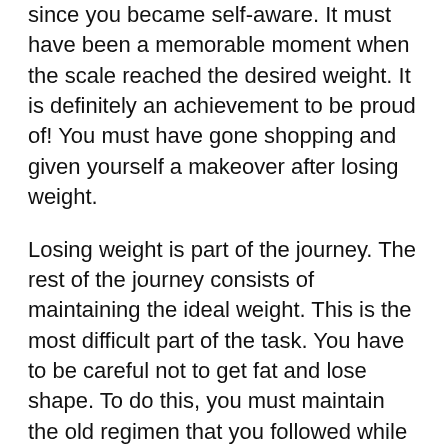since you became self-aware. It must have been a memorable moment when the scale reached the desired weight. It is definitely an achievement to be proud of! You must have gone shopping and given yourself a makeover after losing weight.
Losing weight is part of the journey. The rest of the journey consists of maintaining the ideal weight. This is the most difficult part of the task. You have to be careful not to get fat and lose shape. To do this, you must maintain the old regimen that you followed while losing weight.
You should also be careful about what you eat. Although you can slightly increase your calorie intake, you cannot afford to overdo it. How to lose